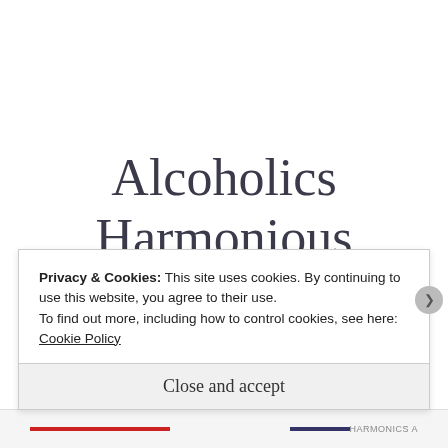Alcoholics Harmonious
Privacy & Cookies: This site uses cookies. By continuing to use this website, you agree to their use.
To find out more, including how to control cookies, see here: Cookie Policy
Close and accept